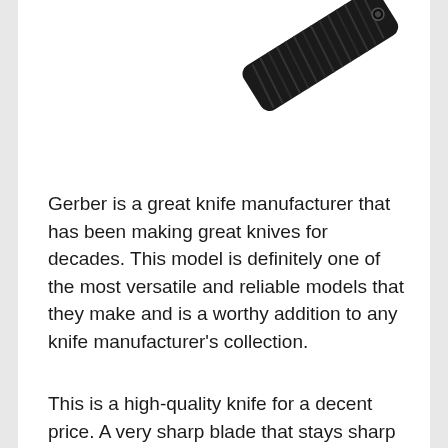[Figure (photo): Partial view of a black folding knife handle with textured surface, shown at an angle from top-right corner]
Gerber is a great knife manufacturer that has been making great knives for decades. This model is definitely one of the most versatile and reliable models that they make and is a worthy addition to any knife manufacturer's collection.
This is a high-quality knife for a decent price. A very sharp blade that stays sharp for quite a while. Sturdy with some heft to it.
The assisted opening feature is decent, very well made, and no matter how often you